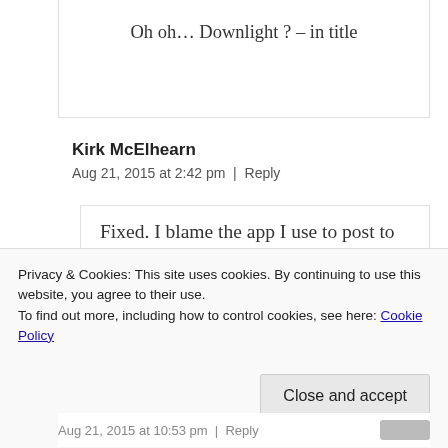Oh oh... Downlight ? – in title
Kirk McElhearn
Aug 21, 2015 at 2:42 pm | Reply
Fixed. I blame the app I use to post to my site for not spell checking in the title field. 🙂
Privacy & Cookies: This site uses cookies. By continuing to use this website, you agree to their use.
To find out more, including how to control cookies, see here: Cookie Policy
Close and accept
Aug 21, 2015 at 10:53 pm | Reply